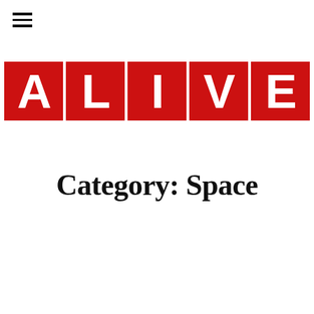[Figure (logo): Hamburger menu icon — three horizontal black lines stacked vertically, positioned top-left]
[Figure (logo): ALIVE logo — each letter in a red square background with white bold text]
Category: Space